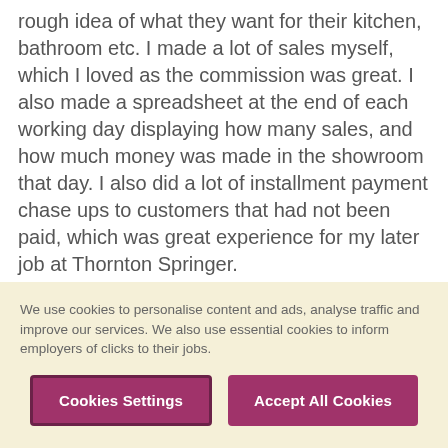rough idea of what they want for their kitchen, bathroom etc. I made a lot of sales myself, which I loved as the commission was great. I also made a spreadsheet at the end of each working day displaying how many sales, and how much money was made in the showroom that day. I also did a lot of installment payment chase ups to customers that had not been paid, which was great experience for my later job at Thornton Springer.
The Store Manager was brilliant, everybody loved him and he was a great boss. But my actual line manager who was the Customer Service Manager,
We use cookies to personalise content and ads, analyse traffic and improve our services. We also use essential cookies to inform employers of clicks to their jobs.